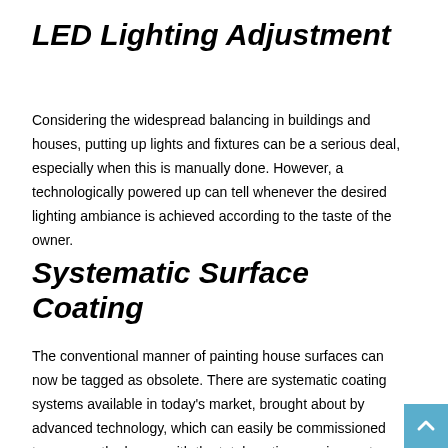LED Lighting Adjustment
Considering the widespread balancing in buildings and houses, putting up lights and fixtures can be a serious deal, especially when this is manually done. However, a technologically powered up can tell whenever the desired lighting ambiance is achieved according to the taste of the owner.
Systematic Surface Coating
The conventional manner of painting house surfaces can now be tagged as obsolete. There are systematic coating systems available in today's market, brought about by advanced technology, which can easily be commissioned to wrap up the house with the total coating requirements, inside and out.